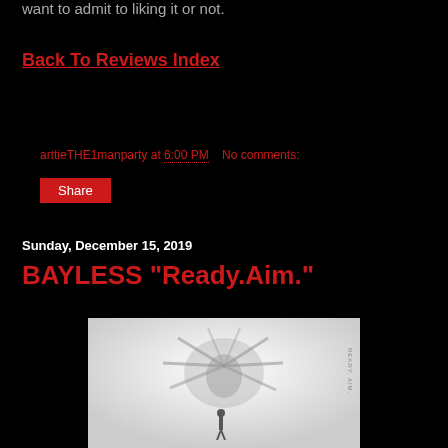want to admit to liking it or not.
Back To Reviews Index
arttieTHE1manparty at 6:00 PM   No comments:
Share
Sunday, December 15, 2019
BAYLESS "Ready.Aim."
[Figure (photo): Album cover for BAYLESS Ready.Aim. - black and white image showing a small figure standing beneath a large multi-armed creature or entity in a foggy/misty background. Text 'READY. AIM.' visible vertically on the right side.]